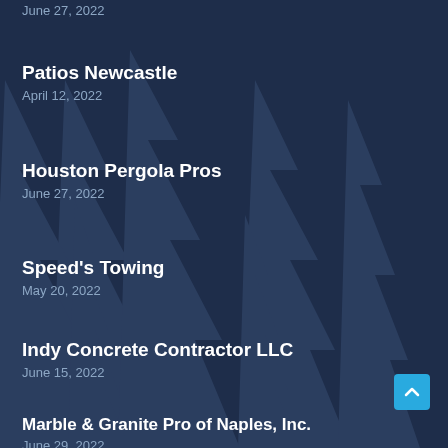June 27, 2022
Patios Newcastle
April 12, 2022
Houston Pergola Pros
June 27, 2022
Speed's Towing
May 20, 2022
Indy Concrete Contractor LLC
June 15, 2022
Marble & Granite Pro of Naples, Inc.
June 29, 2022